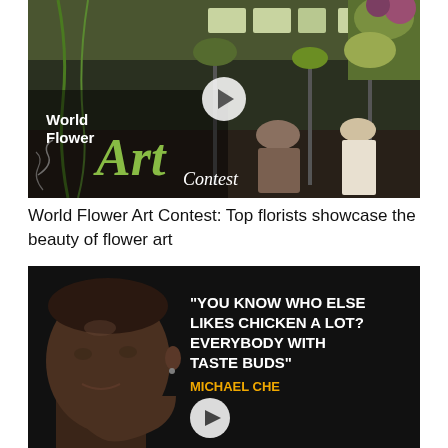[Figure (photo): Thumbnail image for 'World Flower Art Contest' video. Shows a floral arrangement competition with tall flower installations on metal stands, people working in background. Text overlay reads 'World Flower Art Contest' with decorative script 'Art' in green and 'Contest' in white italic. A play button circle is visible in the center.]
World Flower Art Contest: Top florists showcase the beauty of flower art
[Figure (photo): Thumbnail image of a video featuring comedian Michael Che. Shows close-up of a man's face on a dark background with white bold text: '"YOU KNOW WHO ELSE LIKES CHICKEN A LOT? EVERYBODY WITH TASTE BUDS"' and below in yellow 'MICHAEL CHE'. A play button circle is visible.]